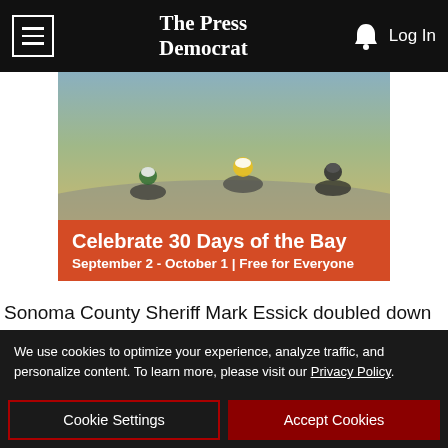The Press Democrat — Log In
[Figure (illustration): Advertisement banner showing cyclists on road with orange background. Title: Celebrate 30 Days of the Bay. Subtitle: September 2 - October 1 | Free for Everyone]
Sonoma County Sheriff Mark Essick doubled down Friday on his stunning announcement a day before that his deputies ... undari Mase's ... the county ... hits on
[Figure (illustration): Advertisement overlay for Fitz and the Tantrums and Andy Grammer, The Wrong Party Tour, Fri Aug 26]
We use cookies to optimize your experience, analyze traffic, and personalize content. To learn more, please visit our Privacy Policy.
Cookie Settings
Accept Cookies